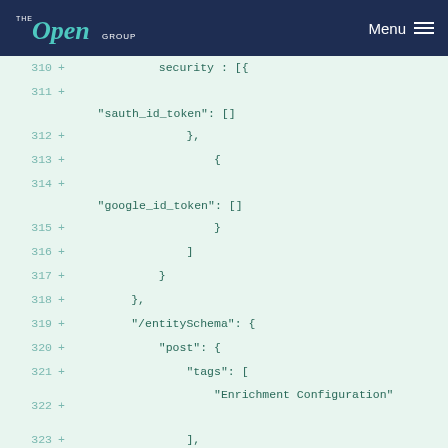The Open Group | Menu
[Figure (screenshot): Code diff view showing lines 310-325 of a JSON/YAML file with added lines (marked with +) showing security configuration including sauth_id_token, google_id_token, /entitySchema with post tags Enrichment Configuration, summary, and description fields.]